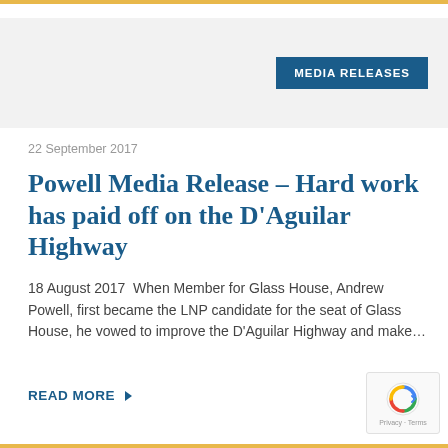MEDIA RELEASES
22 September 2017
Powell Media Release – Hard work has paid off on the D'Aguilar Highway
18 August 2017  When Member for Glass House, Andrew Powell, first became the LNP candidate for the seat of Glass House, he vowed to improve the D'Aguilar Highway and make…
READ MORE ▶